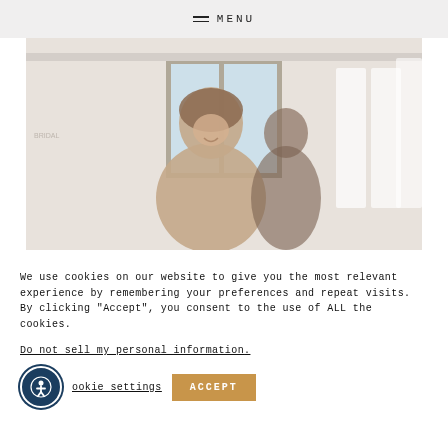MENU
[Figure (photo): A woman smiling in what appears to be a bridal boutique or clothing store, with white dresses visible in the background near a window.]
We use cookies on our website to give you the most relevant experience by remembering your preferences and repeat visits. By clicking "Accept", you consent to the use of ALL the cookies.
Do not sell my personal information.
Cookie settings   ACCEPT